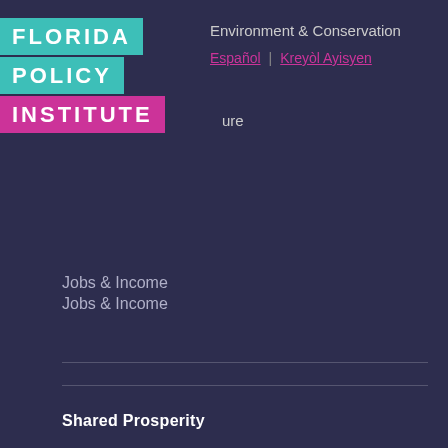[Figure (logo): Florida Policy Institute logo with teal and pink blocks]
Environment & Conservation
Español | Kreyòl Ayisyen
ure
Jobs & Income
Shared Prosperity
Criminal Justice
Immigration
Safety Net
An Equitable Tax Code